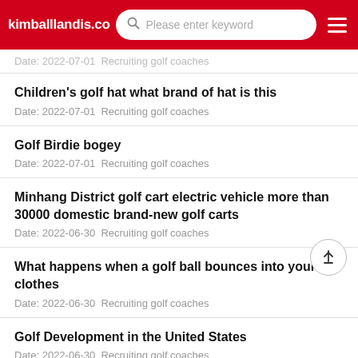kimballlandis.com | Please enter keyword
Date: 2022-07-01  Recruiting golf coaches
Children's golf hat what brand of hat is this
Date: 2022-07-01  Recruiting golf coaches
Golf Birdie bogey
Date: 2022-07-01  Recruiting golf coaches
Minhang District golf cart electric vehicle more than 30000 domestic brand-new golf carts
Date: 2022-06-30  Recruiting golf coaches
What happens when a golf ball bounces into your clothes
Date: 2022-06-30  Recruiting golf coaches
Golf Development in the United States
Date: 2022-06-30  Recruiting golf coaches